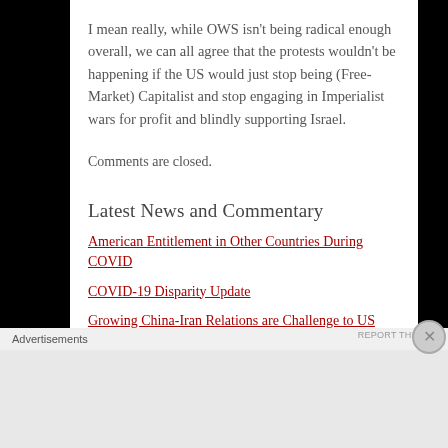I mean really, while OWS isn't being radical enough overall, we can all agree that the protests wouldn't be happening if the US would just stop being (Free-Market) Capitalist and stop engaging in Imperialist wars for profit and blindly supporting Israel.
Comments are closed.
Latest News and Commentary
American Entitlement in Other Countries During COVID
COVID-19 Disparity Update
Growing China-Iran Relations are Challenge to US
Advertisements